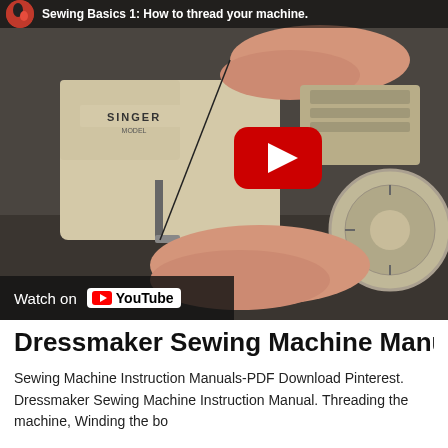[Figure (screenshot): YouTube video thumbnail showing a Singer sewing machine being threaded by a person's hands. A red YouTube play button is visible in the center-right area. The video is titled 'Sewing Basics 1: How to thread your machine.' A channel icon (pink/red circular avatar) appears in the top-left with the video title. A 'Watch on YouTube' bar appears at the bottom-left.]
Dressmaker Sewing Machine Manual P
Sewing Machine Instruction Manuals-PDF Download Pinterest. Dressmaker Sewing Machine Instruction Manual. Threading the machine, Winding the bo